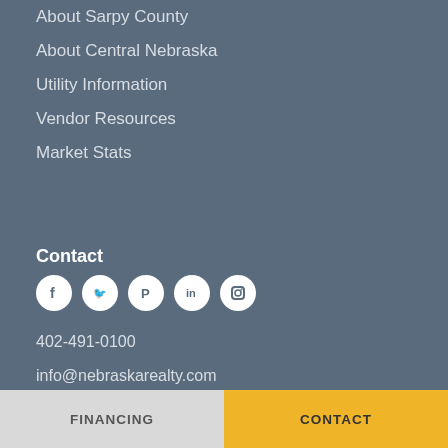About Sarpy County
About Central Nebraska
Utility Information
Vendor Resources
Market Stats
Contact
402-491-0100
info@nebraskarealty.com
17117 Burt Street
Omaha, NE 68118
[Figure (logo): BBB Accredited Business badge with blue background, BBB shield logo, text ACCREDITED BUSINESS, BBB Rating: A+]
FINANCING | CONTACT